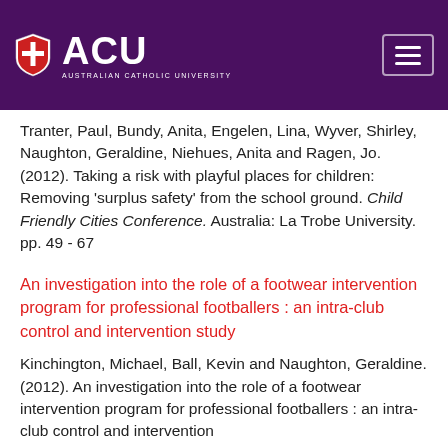[Figure (logo): ACU (Australian Catholic University) logo with shield/crest on purple header background, and hamburger menu button]
Tranter, Paul, Bundy, Anita, Engelen, Lina, Wyver, Shirley, Naughton, Geraldine, Niehues, Anita and Ragen, Jo. (2012). Taking a risk with playful places for children: Removing 'surplus safety' from the school ground. Child Friendly Cities Conference. Australia: La Trobe University. pp. 49 - 67
An investigation into the role of a footwear intervention program for professional footballers : an intra-club control and intervention study
Kinchington, Michael, Ball, Kevin and Naughton, Geraldine. (2012). An investigation into the role of a footwear intervention program for professional footballers : an intra-club control and intervention